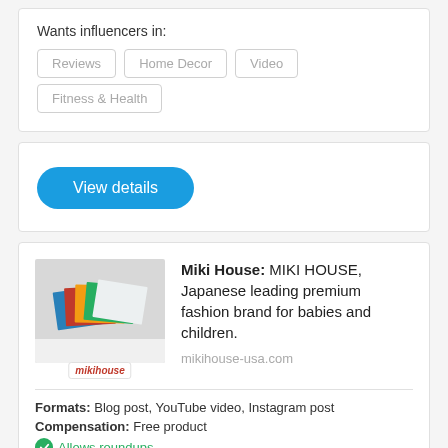Wants influencers in:
Reviews
Home Decor
Video
Fitness & Health
View details
Miki House: MIKI HOUSE, Japanese leading premium fashion brand for babies and children.
mikihouse-usa.com
Formats: Blog post, YouTube video, Instagram post
Compensation: Free product
Allows roundups